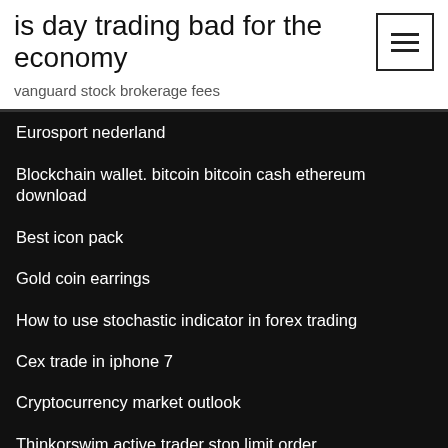is day trading bad for the economy
vanguard stock brokerage fees
Eurosport nederland
Blockchain wallet. bitcoin bitcoin cash ethereum download
Best icon pack
Gold coin earrings
How to use stochastic indicator in forex trading
Cex trade in iphone 7
Cryptocurrency market outlook
Thinkorswim active trader stop limit order
Robinhood app investing review
Mexico population per square mile